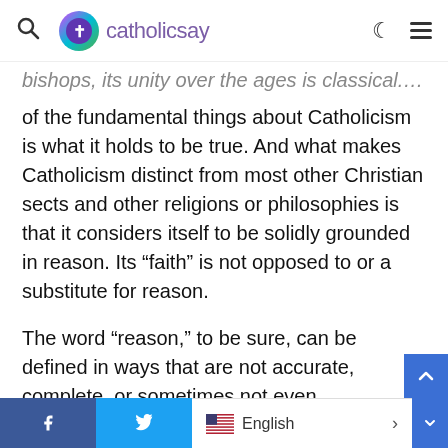catholicsay
bishops, its unity over the ages is classical. One of the fundamental things about Catholicism is what it holds to be true. And what makes Catholicism distinct from most other Christian sects and other religions or philosophies is that it considers itself to be solidly grounded in reason. Its “faith” is not opposed to or a substitute for reason.
The word “reason,” to be sure, can be defined in ways that are not accurate, complete, or sometimes not even “reasonable.” Revelation, as Catholics understand it, was not, like Islam or
Facebook  Twitter  English